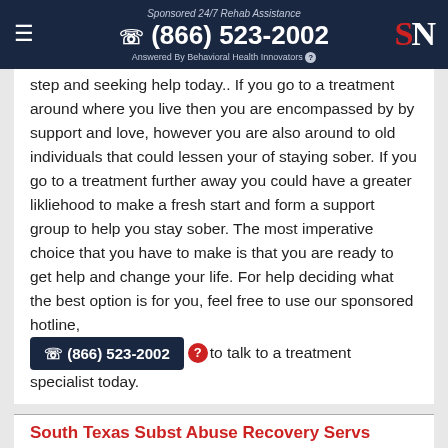Sponsored 24/7 Rehab Assistance ☎ (866) 523-2002 Answered By Behavioral Health Innovators
step and seeking help today.. If you go to a treatment around where you live then you are encompassed by by support and love, however you are also around to old individuals that could lessen your of staying sober. If you go to a treatment further away you could have a greater likliehood to make a fresh start and form a support group to help you stay sober. The most imperative choice that you have to make is that you are ready to get help and change your life. For help deciding what the best option is for you, feel free to use our sponsored hotline, ☎ (866) 523-2002 to talk to a treatment specialist today.
South Texas Subst Abuse Recovery Servs